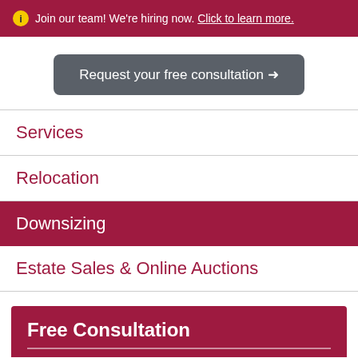Join our team! We're hiring now. Click to learn more.
Request your free consultation →
Services
Relocation
Downsizing
Estate Sales & Online Auctions
Free Consultation